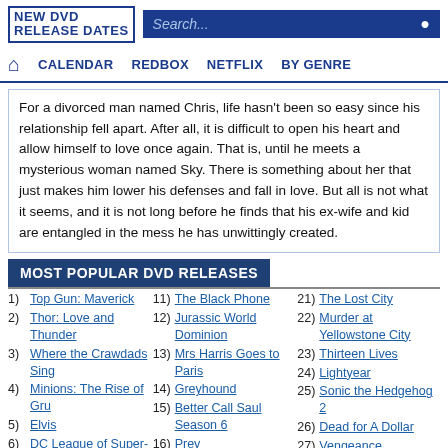NEW DVD RELEASE DATES | Search...
CALENDAR   REDBOX   NETFLIX   BY GENRE
For a divorced man named Chris, life hasn't been so easy since his relationship fell apart. After all, it is difficult to open his heart and allow himself to love once again. That is, until he meets a mysterious woman named Sky. There is something about her that just makes him lower his defenses and fall in love. But all is not what it seems, and it is not long before he finds that his ex-wife and kid are entangled in the mess he has unwittingly created.
MOST POPULAR DVD RELEASES
1) Top Gun: Maverick
2) Thor: Love and Thunder
3) Where the Crawdads Sing
4) Minions: The Rise of Gru
5) Elvis
6) DC League of Super-Pets
11) The Black Phone
12) Jurassic World Dominion
13) Mrs Harris Goes to Paris
14) Greyhound
15) Better Call Saul Season 6
16) Prey
17) Hocus Pocus 2
21) The Lost City
22) Murder at Yellowstone City
23) Thirteen Lives
24) Lightyear
25) Sonic the Hedgehog 2
26) Dead for A Dollar
27) Vengeance
28) The Trumpet...